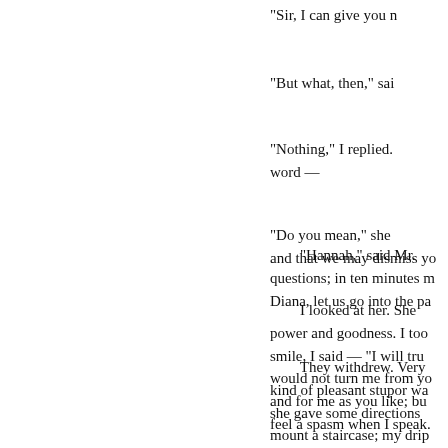"Sir, I can give you n
"But what, then," sai
"Nothing," I replied. word —
"Do you mean," she and that we may dismiss yo
I looked at her. She power and goodness. I too smile, I said — "I will tru would not turn me from yo and for me as you like; bu feel a spasm when I speak.
"Hannah," said Mr. questions; in ten minutes m Diana, let us go into the pa
They withdrew. Very kind of pleasant stupor wa she gave some directions mount a staircase; my drip me. I thanked God — expo and slept.